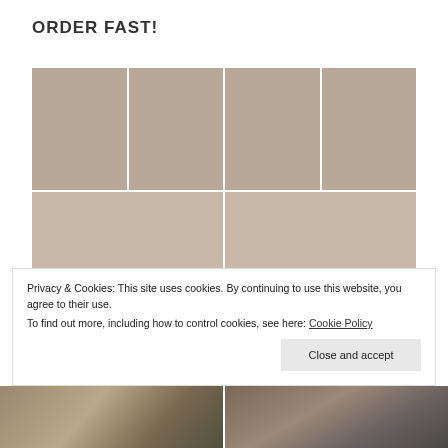ORDER FAST!
[Figure (photo): Four cat calendar photos arranged in a 2x2 grid (top row): tabby cat portrait, open calendar page showing 2017, another cat portrait, another open calendar page showing 2017]
[Figure (photo): Two larger cat calendar photos (bottom row): left shows orange cat with text about rescue story, right shows tabby cat close-up with text about the cat's story]
Privacy & Cookies: This site uses cookies. By continuing to use this website, you agree to their use.
To find out more, including how to control cookies, see here: Cookie Policy
[Figure (photo): Two partial cat photos visible at the very bottom of the page]